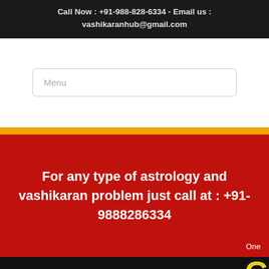Call Now : +91-988-828-6334 - Email us : vashikaranhub@gmail.com
Menu
For any type of astrology and vashikaran problem just call at : +91-9888286334
One
G